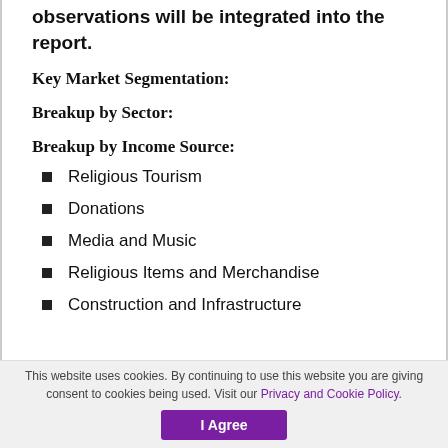observations will be integrated into the report.
Key Market Segmentation:
Breakup by Sector:
Breakup by Income Source:
Religious Tourism
Donations
Media and Music
Religious Items and Merchandise
Construction and Infrastructure
This website uses cookies. By continuing to use this website you are giving consent to cookies being used. Visit our Privacy and Cookie Policy.